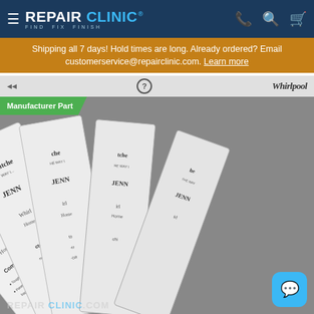REPAIR CLINIC — FIND. FIX. FINISH.
Shipping all 7 days! Hold times are long. Already ordered? Email customerservice@repairclinic.com. Learn more
[Figure (photo): Fan of white compactor trash bags branded with KitchenAid, JennAir, and Whirlpool logos fanned out on gray background. Text on bags reads: Compactor, Tough 2.5-mil multi-l..., Patented SLIP-N-GRI... bags from slipping...]
Manufacturer Part
REPAIRCLINIC.COM